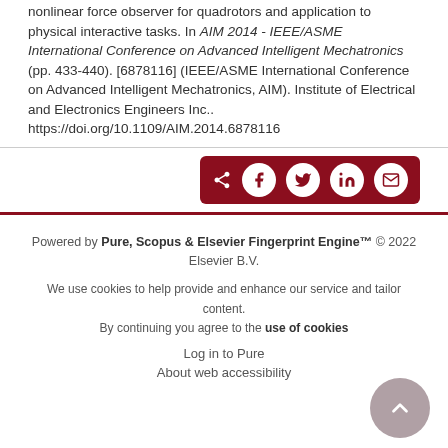nonlinear force observer for quadrotors and application to physical interactive tasks. In AIM 2014 - IEEE/ASME International Conference on Advanced Intelligent Mechatronics (pp. 433-440). [6878116] (IEEE/ASME International Conference on Advanced Intelligent Mechatronics, AIM). Institute of Electrical and Electronics Engineers Inc.. https://doi.org/10.1109/AIM.2014.6878116
[Figure (other): Social share buttons bar with dark red background containing share, Facebook, Twitter, LinkedIn, and email icons]
Powered by Pure, Scopus & Elsevier Fingerprint Engine™ © 2022 Elsevier B.V.
We use cookies to help provide and enhance our service and tailor content. By continuing you agree to the use of cookies
Log in to Pure
About web accessibility